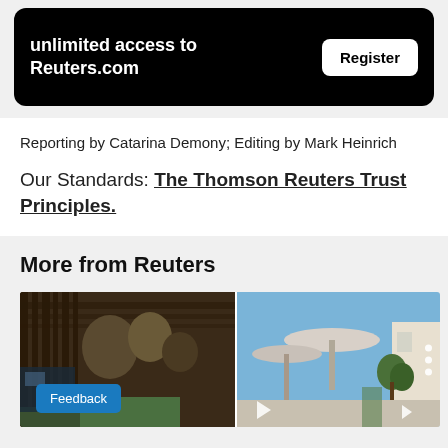unlimited access to Reuters.com
Register
Reporting by Catarina Demony; Editing by Mark Heinrich
Our Standards: The Thomson Reuters Trust Principles.
More from Reuters
[Figure (photo): Video strip showing two video thumbnails side by side: left shows a wooden structure with trees/sculptures in dark tones, right shows an outdoor space with circular canopy structures against a blue sky. A feedback button is visible at bottom left and navigation arrows at bottom.]